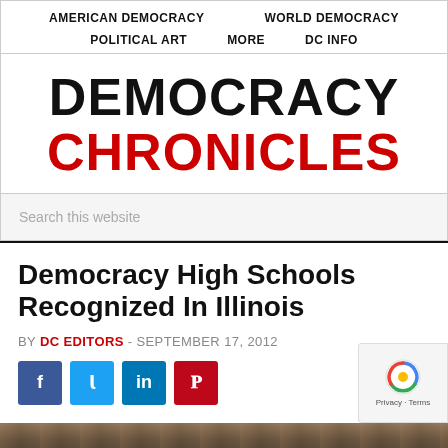AMERICAN DEMOCRACY   WORLD DEMOCRACY   POLITICAL ART   MORE   DC INFO
DEMOCRACY CHRONICLES
Search this website
Democracy High Schools Recognized In Illinois
BY DC EDITORS - SEPTEMBER 17, 2012
[Figure (other): Social share buttons: Facebook (blue), Twitter (light blue), LinkedIn (blue), Pinterest (red)]
[Figure (photo): Bottom strip of a photograph, dark toned image]